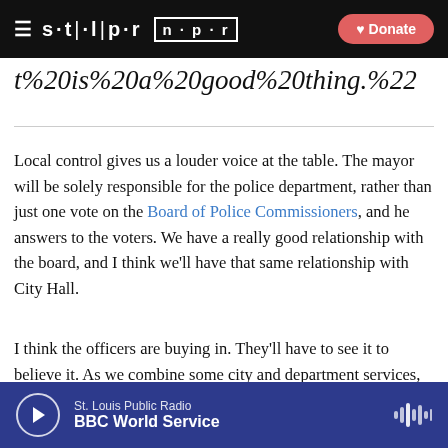STLPR NPR [Donate]
t%20is%20a%20good%20thing.%22
Local control gives us a louder voice at the table. The mayor will be solely responsible for the police department, rather than just one vote on the Board of Police Commissioners, and he answers to the voters. We have a really good relationship with the board, and I think we'll have that same relationship with City Hall.
I think the officers are buying in. They'll have to see it to believe it. As we combine some city and department services, save some money, reinvest it into the
St. Louis Public Radio | BBC World Service